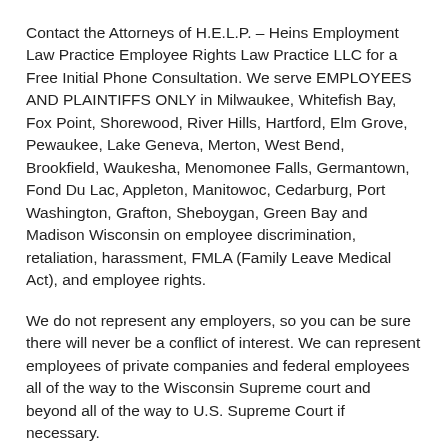Contact the Attorneys of H.E.L.P. – Heins Employment Law Practice Employee Rights Law Practice LLC for a Free Initial Phone Consultation. We serve EMPLOYEES AND PLAINTIFFS ONLY in Milwaukee, Whitefish Bay, Fox Point, Shorewood, River Hills, Hartford, Elm Grove, Pewaukee, Lake Geneva, Merton, West Bend, Brookfield, Waukesha, Menomonee Falls, Germantown, Fond Du Lac, Appleton, Manitowoc, Cedarburg, Port Washington, Grafton, Sheboygan, Green Bay and Madison Wisconsin on employee discrimination, retaliation, harassment, FMLA (Family Leave Medical Act), and employee rights.
We do not represent any employers, so you can be sure there will never be a conflict of interest. We can represent employees of private companies and federal employees all of the way to the Wisconsin Supreme court and beyond all of the way to U.S. Supreme Court if necessary.
Wisconsin Employment Attorneys Serving the Greater Milwaukee Area and Wisconsin For free consultation* or to set